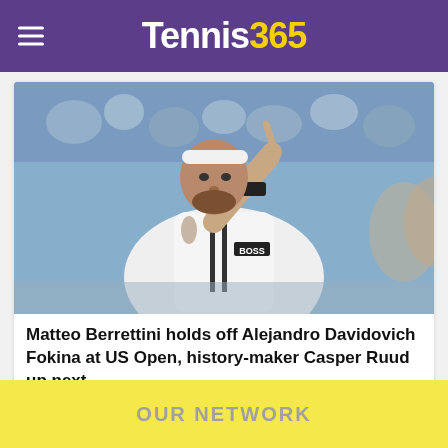Tennis365
[Figure (photo): Matteo Berrettini in white BOSS polo shirt pointing finger upward on tennis court, wearing white headband and black wristband, crowd in background]
Matteo Berrettini holds off Alejandro Davidovich Fokina at US Open, history-maker Casper Ruud up next
OUR NETWORK